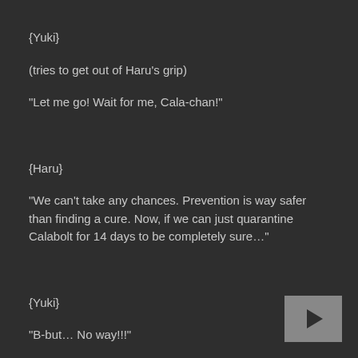{Yuki}
(tries to get out of Haru’s grip)
“Let me go! Wait for me, Cala-chan!”
{Haru}
“We can’t take any chances. Prevention is way safer than finding a cure. Now, if we can just quarantine Calabolt for 14 days to be completely sure…”
{Yuki}
“B-but… No way!!!”
[Figure (other): Play button icon (triangle on grey rectangle) in bottom right corner]